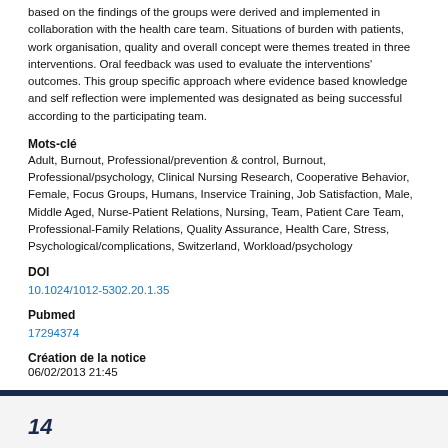based on the findings of the groups were derived and implemented in collaboration with the health care team. Situations of burden with patients, work organisation, quality and overall concept were themes treated in three interventions. Oral feedback was used to evaluate the interventions' outcomes. This group specific approach where evidence based knowledge and self reflection were implemented was designated as being successful according to the participating team.
Mots-clé
Adult, Burnout, Professional/prevention & control, Burnout, Professional/psychology, Clinical Nursing Research, Cooperative Behavior, Female, Focus Groups, Humans, Inservice Training, Job Satisfaction, Male, Middle Aged, Nurse-Patient Relations, Nursing, Team, Patient Care Team, Professional-Family Relations, Quality Assurance, Health Care, Stress, Psychological/complications, Switzerland, Workload/psychology
DOI
10.1024/1012-5302.20.1.35
Pubmed
17294374
Création de la notice
06/02/2013 21:45
Dernière modification de la notice
20/08/2019 16:16
Données d'usage